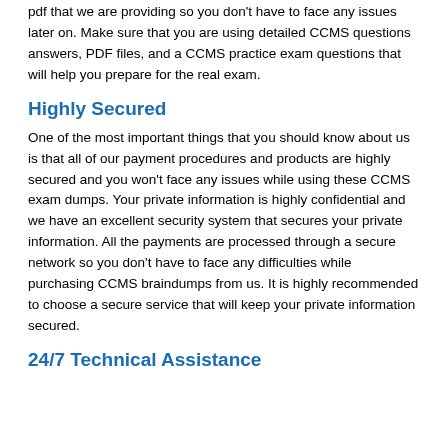pdf that we are providing so you don't have to face any issues later on. Make sure that you are using detailed CCMS questions answers, PDF files, and a CCMS practice exam questions that will help you prepare for the real exam.
Highly Secured
One of the most important things that you should know about us is that all of our payment procedures and products are highly secured and you won't face any issues while using these CCMS exam dumps. Your private information is highly confidential and we have an excellent security system that secures your private information. All the payments are processed through a secure network so you don't have to face any difficulties while purchasing CCMS braindumps from us. It is highly recommended to choose a secure service that will keep your private information secured.
24/7 Technical Assistance